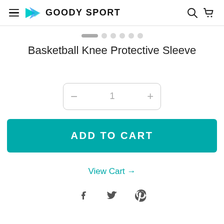GOODY SPORT
[Figure (other): Pagination dots: one active elongated dot followed by five smaller round inactive dots]
Basketball Knee Protective Sleeve
[Figure (other): Quantity selector with minus button, number 1, plus button inside a rounded rectangle border]
ADD TO CART
View Cart →
[Figure (other): Social media icons: Facebook, Twitter, Pinterest]